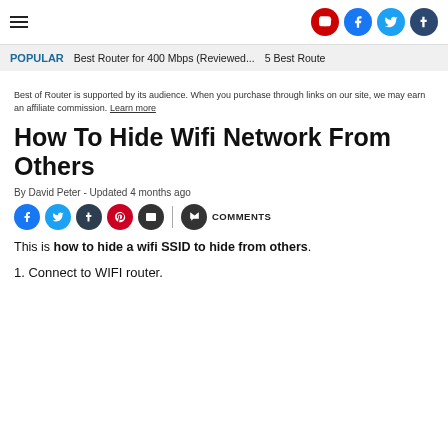Navigation and social icons header
POPULAR   Best Router for 400 Mbps (Reviewed...   5 Best Route
Best of Router is supported by its audience. When you purchase through links on our site, we may earn an affiliate commission. Learn more
How To Hide Wifi Network From Others
By David Peter - Updated 4 months ago
Share icons and COMMENTS
This is how to hide a wifi SSID to hide from others.
1. Connect to WIFI router.